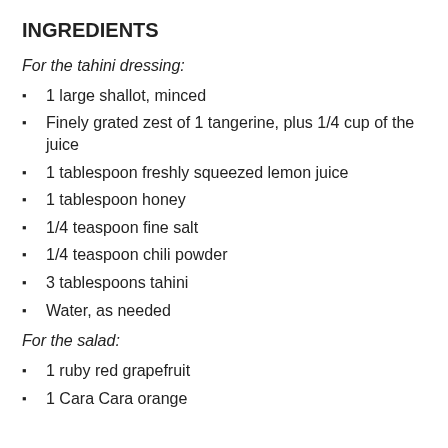INGREDIENTS
For the tahini dressing:
1 large shallot, minced
Finely grated zest of 1 tangerine, plus 1/4 cup of the juice
1 tablespoon freshly squeezed lemon juice
1 tablespoon honey
1/4 teaspoon fine salt
1/4 teaspoon chili powder
3 tablespoons tahini
Water, as needed
For the salad:
1 ruby red grapefruit
1 Cara Cara orange